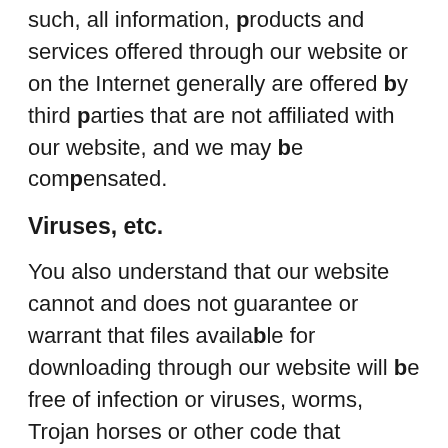such, all information, products and services offered through our website or on the Internet generally are offered by third parties that are not affiliated with our website, and we may be compensated.
Viruses, etc.
You also understand that our website cannot and does not guarantee or warrant that files available for downloading through our website will be free of infection or viruses, worms, Trojan horses or other code that manifest contaminating or destructive properties. You are responsible for implementing sufficient procedures and checkpoints to satisfy your particular